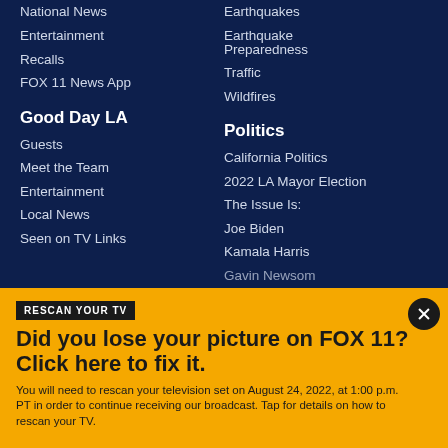National News
Entertainment
Recalls
FOX 11 News App
Earthquakes
Earthquake Preparedness
Traffic
Wildfires
Good Day LA
Guests
Meet the Team
Entertainment
Local News
Seen on TV Links
Politics
California Politics
2022 LA Mayor Election
The Issue Is:
Joe Biden
Kamala Harris
Gavin Newsom
RESCAN YOUR TV
Did you lose your picture on FOX 11? Click here to fix it.
You will need to rescan your television set on August 24, 2022, at 1:00 p.m. PT in order to continue receiving our broadcast. Tap for details on how to rescan your TV.